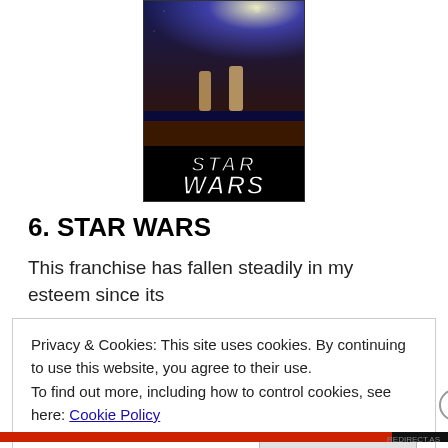[Figure (photo): Star Wars movie poster showing characters and the iconic STAR WARS logo in white outlined letters against a dark space background with Darth Vader silhouette]
6. STAR WARS
This franchise has fallen steadily in my esteem since its
Privacy & Cookies: This site uses cookies. By continuing to use this website, you agree to their use.
To find out more, including how to control cookies, see here: Cookie Policy
Close and accept